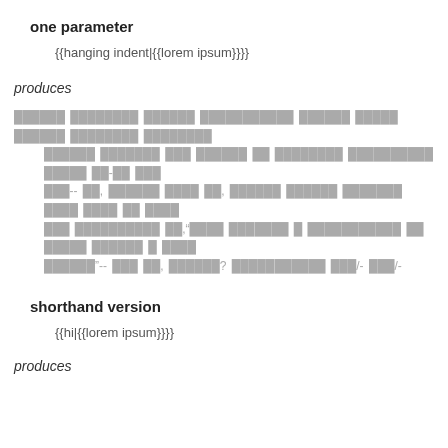one parameter
{{hanging indent|{{lorem ipsum}}}}
produces
Lorem ipsum placeholder text block with indented lines of placeholder content showing hanging indent behavior
shorthand version
{{hi|{{lorem ipsum}}}}
produces